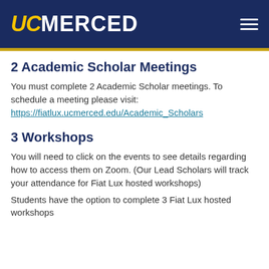UC MERCED
2 Academic Scholar Meetings
You must complete 2 Academic Scholar meetings. To schedule a meeting please visit: https://fiatlux.ucmerced.edu/Academic_Scholars
3 Workshops
You will need to click on the events to see details regarding how to access them on Zoom. (Our Lead Scholars will track your attendance for Fiat Lux hosted workshops)
Students have the option to complete 3 Fiat Lux hosted workshops